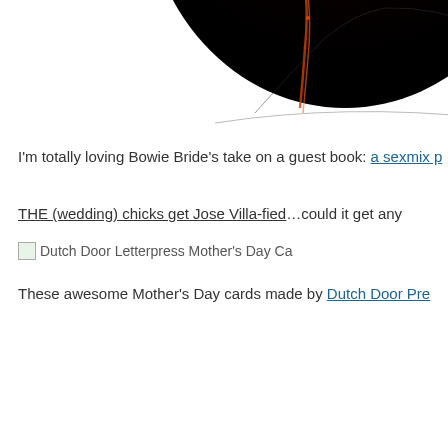[Figure (photo): Partial view of a dark circular object (bottom half visible) with orange/red light reflections on a black background, cropped at top of page]
I'm totally loving Bowie Bride's take on a guest book: a sexmix p…
THE (wedding) chicks get Jose Villa-fied…could it get any…
[Figure (photo): Broken/missing image placeholder: Dutch Door Letterpress Mother's Day Ca…]
These awesome Mother's Day cards made by Dutch Door Pre…